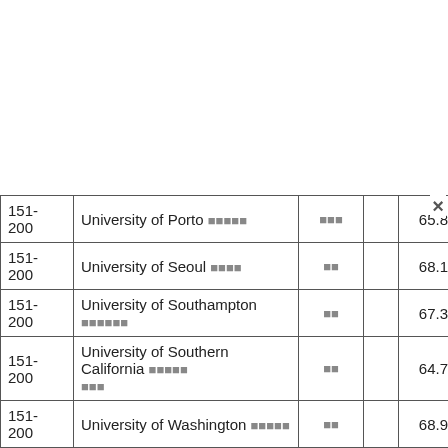| Rank | University | Country |  | Score1 | Score2 |
| --- | --- | --- | --- | --- | --- |
| 151-200 | University of Porto ▪▪▪▪▪ | ▪▪▪ |  | 65.8 | × |
| 151-200 | University of Seoul ▪▪▪▪ | ▪▪ |  | 68.1 | 61 |
| 151-200 | University of Southampton ▪▪▪▪▪▪ | ▪▪ |  | 67.3 | 63 |
| 151-200 | University of Southern California ▪▪▪▪▪ ▪▪▪ | ▪▪ |  | 64.7 | 74 |
| 151-200 | University of Washington ▪▪▪▪▪ | ▪▪ |  | 68.9 | 60 |
| 151-200 | University of York ▪▪▪▪ | ▪▪ |  | 67.1 | 64 |
| 151-200 | Utrecht University ▪▪▪▪▪▪ | ▪▪ |  | 72.8 | 53 |
| 151-200 | Victoria University of Wellington ▪▪▪▪▪▪ ▪▪▪ | ▪▪▪ |  | 66.9 | 61 |